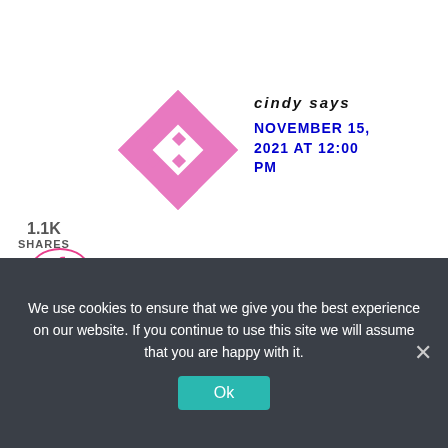[Figure (illustration): Geometric avatar image with pink/magenta triangles and diamond shapes on white background]
cindy says
NOVEMBER 15, 2021 AT 12:00 PM
Looking for a planner for 6th graders.
Reply
We use cookies to ensure that we give you the best experience on our website. If you continue to use this site we will assume that you are happy with it.
Ok
1.1K
SHARES